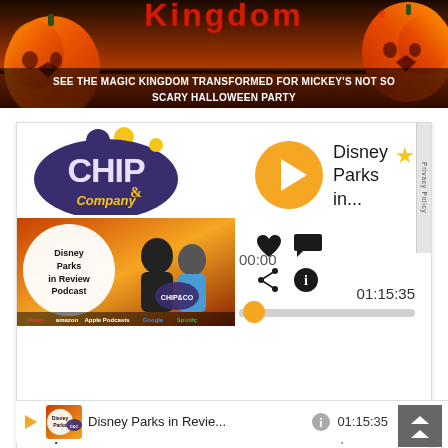[Figure (photo): Halloween themed Magic Kingdom banner with pumpkins on either side, red Kingdom logo text at top, and overlay text reading SEE THE MAGIC KINGDOM TRANSFORMED FOR MICKEY'S NOT SO SCARY HALLOWEEN PARTY]
[Figure (screenshot): Chip and Company Disney Parks in Review Podcast player card with play button, podcast artwork showing two hosts and the Chip and Company logo, controls showing 00:00 and 01:15:35 timestamps, heart/share/info icons, progress bar, showing 82 episodes and 83 hours 57 minutes]
Disney Parks in...
00:00
01:15:35
82 episodes
83 hours, 57 minutes
Disney Parks in Revie... 01:15:35